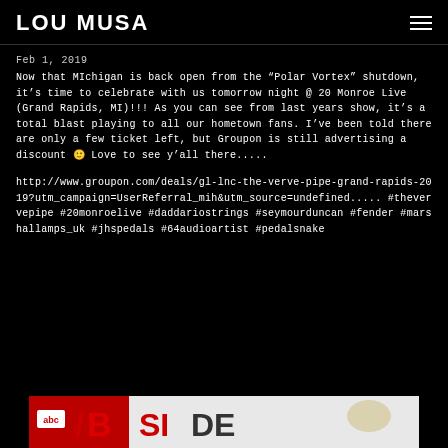LOU MUSA
Feb 1, 2019
Now that MIchigan is back open from the “Polar Vortex” shutdown, it’s time to celebrate with us tomorrow night @ 20 Monroe Live (Grand Rapids, MI)!!! As you can see from last years show, it’s a total blast playing to all our hometown fans. I’ve been told there are only a few ticket left, but Groupon is still advertising a discount 🙂 Love to see y’all there.....
http://www.groupon.com/deals/gl-lnc-the-verve-pipe-grand-rapids-2019?utm_campaign=UserReferral_mih&utm_source=undefined..... #thevervepipe #20monroelive #daddariostrings #seymourduncan #fender #marshallamps_uk #jhspedals #64audioartist #pedalsnake
[Figure (photo): Partial view of a TV show graphic showing 'abc' logo in red and text 'SIDE' in red and dark letters, with a partial image of a person with blonde hair]